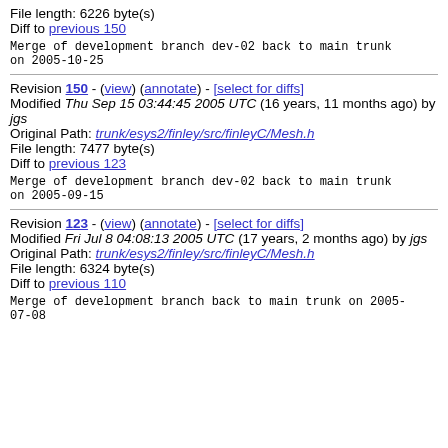File length: 6226 byte(s)
Diff to previous 150
Merge of development branch dev-02 back to main trunk
on 2005-10-25
Revision 150 - (view) (annotate) - [select for diffs]
Modified Thu Sep 15 03:44:45 2005 UTC (16 years, 11 months ago) by jgs
Original Path: trunk/esys2/finley/src/finleyC/Mesh.h
File length: 7477 byte(s)
Diff to previous 123
Merge of development branch dev-02 back to main trunk
on 2005-09-15
Revision 123 - (view) (annotate) - [select for diffs]
Modified Fri Jul 8 04:08:13 2005 UTC (17 years, 2 months ago) by jgs
Original Path: trunk/esys2/finley/src/finleyC/Mesh.h
File length: 6324 byte(s)
Diff to previous 110
Merge of development branch back to main trunk on 2005-07-08